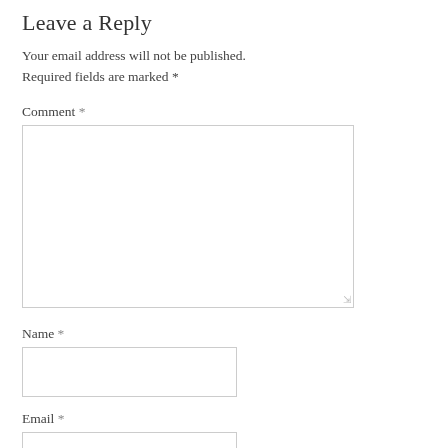Leave a Reply
Your email address will not be published. Required fields are marked *
Comment *
[Figure (other): A large textarea input box for comment entry with resize handle]
Name *
[Figure (other): A text input box for name entry]
Email *
[Figure (other): A text input box for email entry]